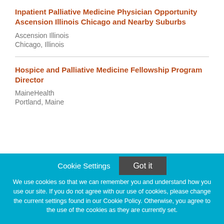Inpatient Palliative Medicine Physician Opportunity Ascension Illinois Chicago and Nearby Suburbs
Ascension Illinois
Chicago, Illinois
Hospice and Palliative Medicine Fellowship Program Director
MaineHealth
Portland, Maine
Cookie Settings
Got it
We use cookies so that we can remember you and understand how you use our site. If you do not agree with our use of cookies, please change the current settings found in our Cookie Policy. Otherwise, you agree to the use of the cookies as they are currently set.